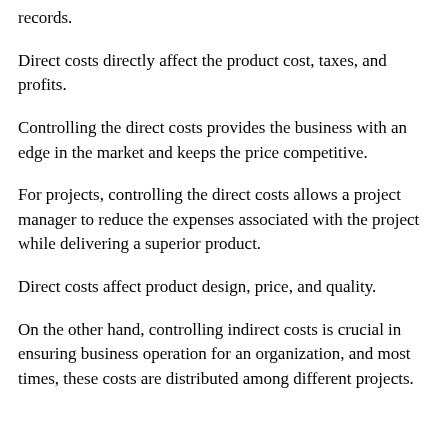records.
Direct costs directly affect the product cost, taxes, and profits.
Controlling the direct costs provides the business with an edge in the market and keeps the price competitive.
For projects, controlling the direct costs allows a project manager to reduce the expenses associated with the project while delivering a superior product.
Direct costs affect product design, price, and quality.
On the other hand, controlling indirect costs is crucial in ensuring business operation for an organization, and most times, these costs are distributed among different projects.